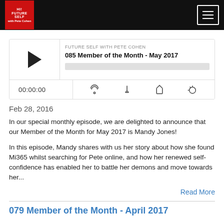Future Self with Pete Cohen — site header with logo and menu
[Figure (screenshot): Podcast audio player widget showing episode '085 Member of the Month - May 2017' from Future Self with Pete Cohen, with play button, progress bar, time display 00:00:00, and media controls]
Feb 28, 2016
In our special monthly episode, we are delighted to announce that our Member of the Month for May 2017 is Mandy Jones!
In this episode, Mandy shares with us her story about how she found Mi365 whilst searching for Pete online, and how her renewed self-confidence has enabled her to battle her demons and move towards her...
Read More
079 Member of the Month - April 2017